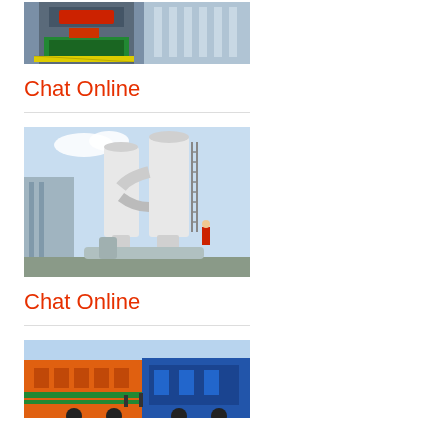[Figure (photo): Industrial heavy machinery/press equipment in a factory setting with orange/red machinery and metal structures]
Chat Online
[Figure (photo): Industrial milling/grinding equipment with large white cyclone separators and ductwork at an outdoor industrial site, worker in red visible]
Chat Online
[Figure (photo): Industrial equipment or vehicle with orange and blue coloring, partially visible at bottom of page]